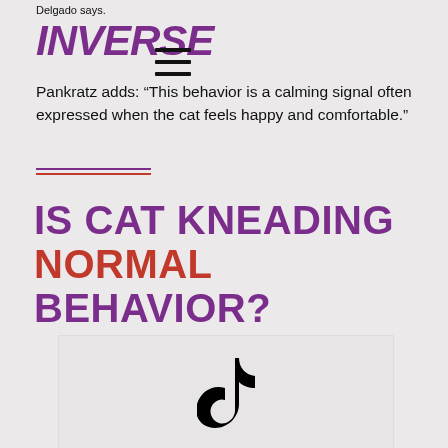Delgado says.
[Figure (logo): INVERSE logo in bold purple italic text]
Pankratz adds: “This behavior is a calming signal often expressed when the cat feels happy and comfortable.”
IS CAT KNEADING NORMAL BEHAVIOR?
[Figure (other): TikTok logo icon centered in a light grey box]